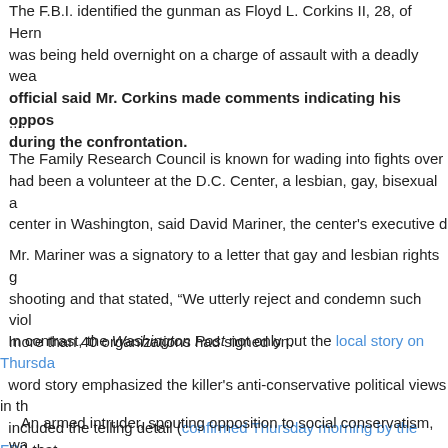The F.B.I. identified the gunman as Floyd L. Corkins II, 28, of Herndon, Va. He was being held overnight on a charge of assault with a deadly weapon. An FBI official said Mr. Corkins made comments indicating his opposition to FRC's positions during the confrontation.
....
The Family Research Council is known for wading into fights over gay rights. Corkins had been a volunteer at the D.C. Center, a lesbian, gay, bisexual and transgender center in Washington, said David Mariner, the center's executive director.
Mr. Mariner was a signatory to a letter that gay and lesbian rights groups sent after the shooting and that stated, "We utterly reject and condemn such violence," and to which more than 40 organizations had signed on.
In contrast, the Washington Post not only put the local story on Thursday's front page, but the word story emphasized the killer's anti-conservative political views in the headline and included the telling detail (confirmed Thursday morning by the FBI) that he had a Chick-fil-A bag, further underlining the possibly political motivation of the shooting.
An armed intruder, spouting opposition to social conservatism, walked into the headquarters of the Family Research Council on Wednesday and shot a security guard, the guard helped subdue him, the police said, holding him to the floor until...